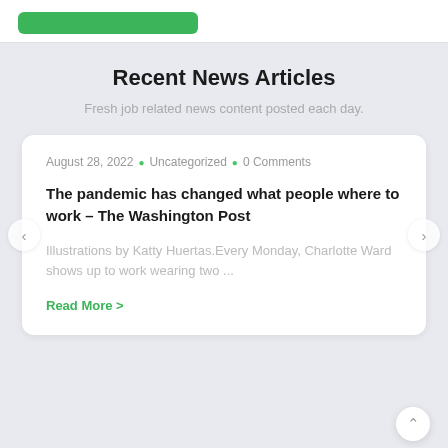[Figure (screenshot): Green button at top of white card section]
Recent News Articles
Fresh job related news content posted each day.
August 28, 2022 • Uncategorized • 0 Comments
The pandemic has changed what people where to work – The Washington Post
Illustrations by Katty Huertas.Every Monday, Charlotte Ward shows up to work wearing two ...
Read More >